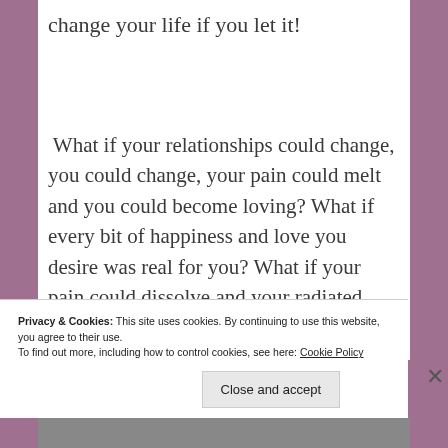change your life if you let it!
What if your relationships could change, you could change, your pain could melt and you could become loving? What if every bit of happiness and love you desire was real for you? What if your pain could dissolve and your radiated, uncontrollably, joy? This book produces miracles. What if your life could
Privacy & Cookies: This site uses cookies. By continuing to use this website, you agree to their use.
To find out more, including how to control cookies, see here: Cookie Policy
Close and accept